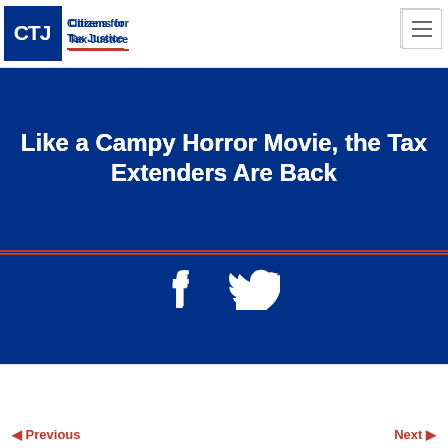[Figure (logo): Citizens for Tax Justice logo: dark blue block with white CTJ letters, followed by text 'Citizens for Tax Justice' with red underline]
Like a Campy Horror Movie, the Tax Extenders Are Back
[Figure (infographic): Social media share icons: Facebook (f) and Twitter (bird) in white on dark blue background]
Previous | Next